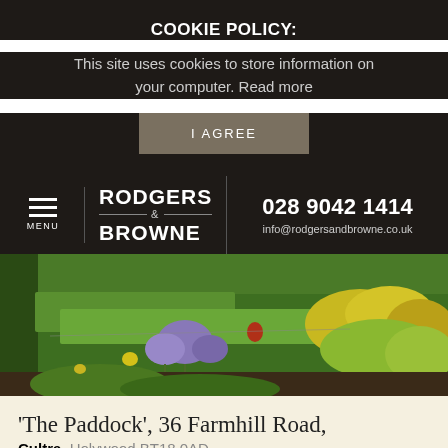COOKIE POLICY:
This site uses cookies to store information on your computer. Read more
I AGREE
RODGERS & BROWNE | 028 9042 1414 | info@rodgersandbrowne.co.uk
[Figure (photo): Garden photograph showing green lawn with purple agapanthus flowers and bright yellow flowers in the foreground]
'The Paddock', 36 Farmhill Road,
Cultra, Holywood BT18 0AD
3 Bedrooms Detached House